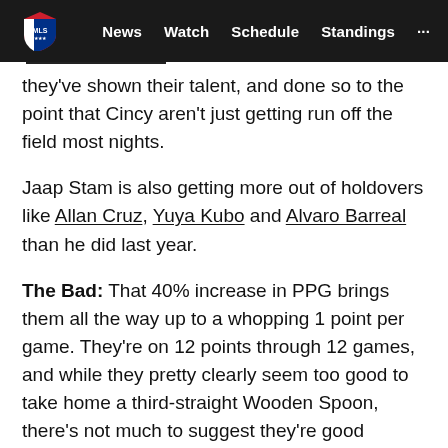MLS | News  Watch  Schedule  Standings  ...
they've shown their talent, and done so to the point that Cincy aren't just getting run off the field most nights.
Jaap Stam is also getting more out of holdovers like Allan Cruz, Yuya Kubo and Alvaro Barreal than he did last year.
The Bad: That 40% increase in PPG brings them all the way up to a whopping 1 point per game. They're on 12 points through 12 games, and while they pretty clearly seem too good to take home a third-straight Wooden Spoon, there's not much to suggest they're good enough to push into the playoff race for real.